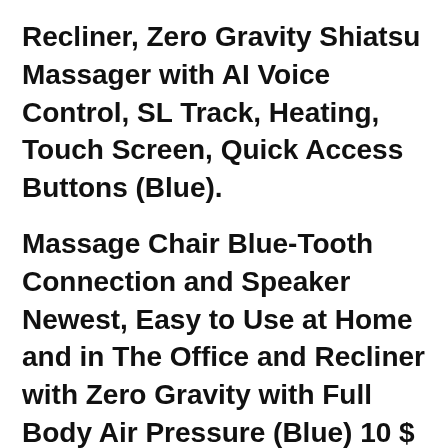Recliner, Zero Gravity Shiatsu Massager with AI Voice Control, SL Track, Heating, Touch Screen, Quick Access Buttons (Blue).
Massage Chair Blue-Tooth Connection and Speaker Newest, Easy to Use at Home and in The Office and Recliner with Zero Gravity with Full Body Air Pressure (Blue) 10 $ $ 99 Grip-On MG2K 4-Inch Micro-Grip Aluminum Alloy Locking Pliers -GRMG2K: Zero